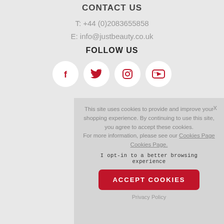CONTACT US
T: +44 (0)2083655858
E: info@justbeauty.co.uk
FOLLOW US
[Figure (illustration): Four social media icons in white circles: Facebook (f), Twitter (bird), Instagram (camera), YouTube (play button)]
This site uses cookies to provide and improve your shopping experience. By continuing to use this site, you agree to accept these cookies. For more information, please see our Cookies Page Cookies Page.
I opt-in to a better browsing experience
ACCEPT COOKIES
Privacy Policy